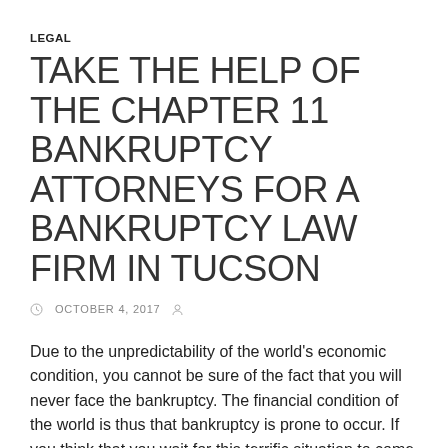LEGAL
TAKE THE HELP OF THE CHAPTER 11 BANKRUPTCY ATTORNEYS FOR A BANKRUPTCY LAW FIRM IN TUCSON
OCTOBER 4, 2017
Due to the unpredictability of the world's economic condition, you cannot be sure of the fact that you will never face the bankruptcy. The financial condition of the world is thus that bankruptcy is prone to occur. If you think that you wait for this terrific situation to come in your life and then you will take the needed steps, then I must say that it is your misconception